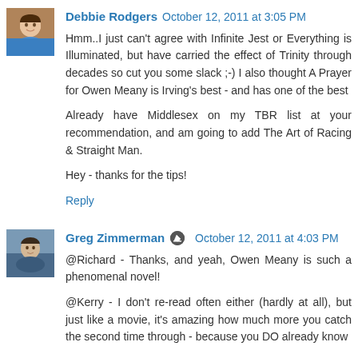[Figure (photo): Avatar photo of Debbie Rodgers, a woman in a blue top]
Debbie Rodgers October 12, 2011 at 3:05 PM
Hmm..I just can't agree with Infinite Jest or Everything is Illuminated, but have carried the effect of Trinity through decades so cut you some slack ;-) I also thought A Prayer for Owen Meany is Irving's best - and has one of the best
Already have Middlesex on my TBR list at your recommendation, and am going to add The Art of Racing & Straight Man.
Hey - thanks for the tips!
Reply
[Figure (photo): Avatar photo of Greg Zimmerman, a man outdoors]
Greg Zimmerman October 12, 2011 at 4:03 PM
@Richard - Thanks, and yeah, Owen Meany is such a phenomenal novel!
@Kerry - I don't re-read often either (hardly at all), but just like a movie, it's amazing how much more you catch the second time through - because you DO already know